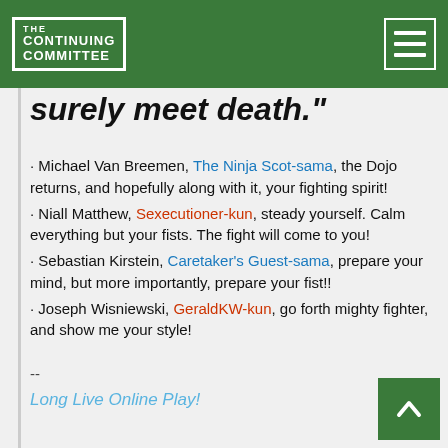THE CONTINUING COMMITTEE
surely meet death."
Michael Van Breemen, The Ninja Scot-sama, the Dojo returns, and hopefully along with it, your fighting spirit!
Niall Matthew, Sexecutioner-kun, steady yourself. Calm everything but your fists. The fight will come to you!
Sebastian Kirstein, Caretaker's Guest-sama, prepare your mind, but more importantly, prepare your fist!!
Joseph Wisniewski, GeraldKW-kun, go forth mighty fighter, and show me your style!
--
Long Live Online Play!